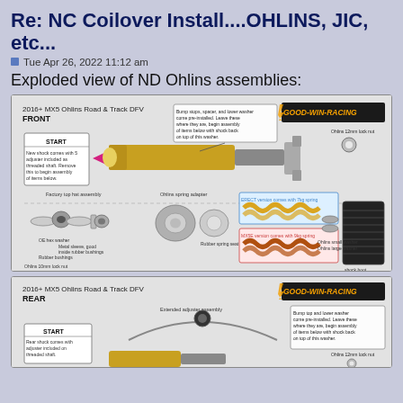Re: NC Coilover Install....OHLINS, JIC, etc...
Tue Apr 26, 2022 11:12 am
Exploded view of ND Ohlins assemblies:
[Figure (engineering-diagram): Exploded view diagram of 2016+ MX5 Ohlins Road & Track DFV FRONT assembly, showing shock absorber, springs (gold/orange), top hat assembly, bushings, spring seat, shock boot, and labeled components from Good-Win-Racing.]
[Figure (engineering-diagram): Partial exploded view diagram of 2016+ MX5 Ohlins Road & Track DFV REAR assembly, showing shock absorber and labeling, from Good-Win-Racing.]